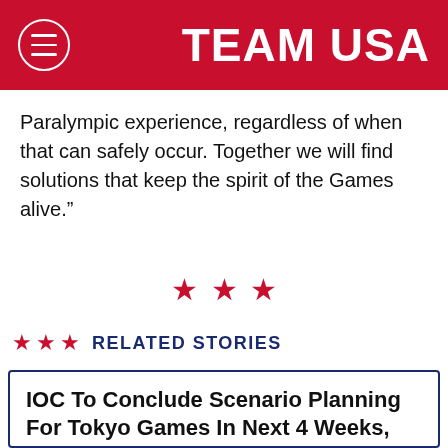TEAM USA
Paralympic experience, regardless of when that can safely occur. Together we will find solutions that keep the spirit of the Games alive.”
[Figure (other): Three red decorative stars used as a section divider]
RELATED STORIES
IOC To Conclude Scenario Planning For Tokyo Games In Next 4 Weeks, Makes